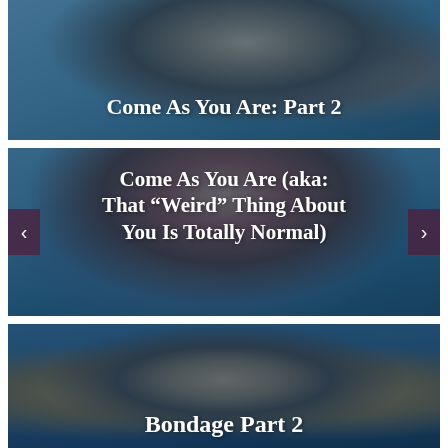[Figure (photo): Person reclining on a couch or bed, reading or writing, with a blue tinted overlay. Card image for 'Come As You Are: Part 2'.]
Come As You Are: Part 2
[Figure (photo): Person with red hair reading a book on a couch, blue tinted overlay. Card image for 'Come As You Are (aka: That "Weird" Thing About You Is Totally Normal)'.]
Come As You Are (aka: That “Weird” Thing About You Is Totally Normal)
[Figure (photo): Person seated in a chair with chains, red and blue tinted overlay. Card image for 'Bondage Part 2'.]
Bondage Part 2